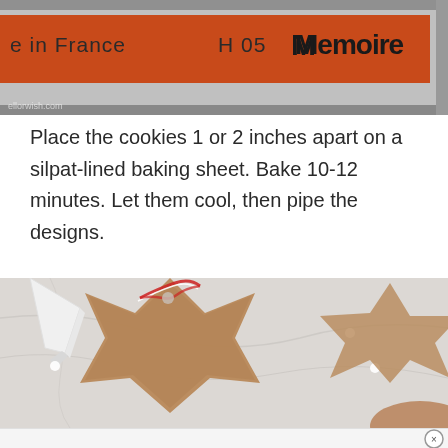[Figure (photo): Top portion of a baking tray with an orange box/tin labeled 'e in France H 05 Memoire' visible, metallic tray edges, with a small watermark text at bottom left.]
Place the cookies 1 or 2 inches apart on a silpat-lined baking sheet. Bake 10-12 minutes. Let them cool, then pipe the designs.
[Figure (photo): A star-shaped gingerbread cookie being decorated with a white icing piping bag. Red and white twine attached to cookie. Additional star cookies visible in background on a marble surface.]
[Figure (photo): Partial view of bottom of page showing marble surface, partially cut off at page edge, with an advertisement close button (X) in bottom right corner.]